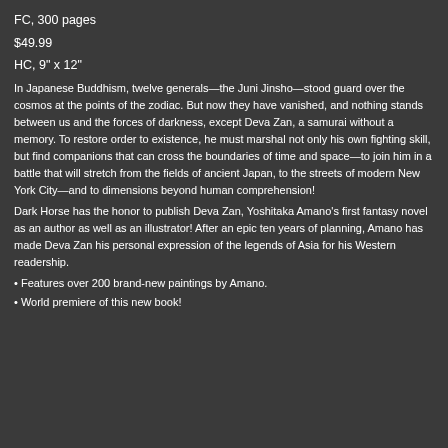FC, 300 pages
$49.99
HC, 9" x 12"
In Japanese Buddhism, twelve generals—the Juni Jinsho—stood guard over the cosmos at the points of the zodiac. But now they have vanished, and nothing stands between us and the forces of darkness, except Deva Zan, a samurai without a memory. To restore order to existence, he must marshal not only his own fighting skill, but find companions that can cross the boundaries of time and space—to join him in a battle that will stretch from the fields of ancient Japan, to the streets of modern New York City—and to dimensions beyond human comprehension!
Dark Horse has the honor to publish Deva Zan, Yoshitaka Amano's first fantasy novel as an author as well as an illustrator! After an epic ten years of planning, Amano has made Deva Zan his personal expression of the legends of Asia for his Western readership.
• Features over 200 brand-new paintings by Amano.
• World premiere of this new book!